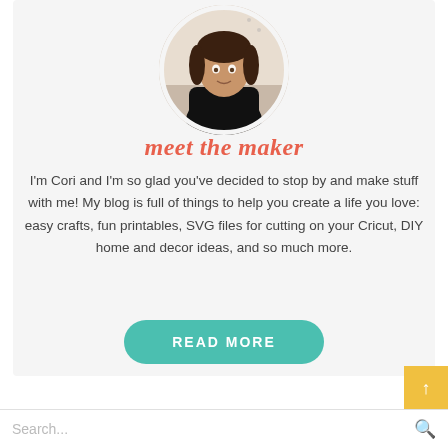[Figure (photo): Circular cropped photo of a woman (Cori) wearing a black top, shown from the waist up against a light background with decorative elements]
meet the maker
I'm Cori and I'm so glad you've decided to stop by and make stuff with me! My blog is full of things to help you create a life you love: easy crafts, fun printables, SVG files for cutting on your Cricut, DIY home and decor ideas, and so much more.
[Figure (other): Teal rounded button with white uppercase text reading READ MORE]
[Figure (other): Yellow square scroll-to-top button with white upward arrow]
Search...